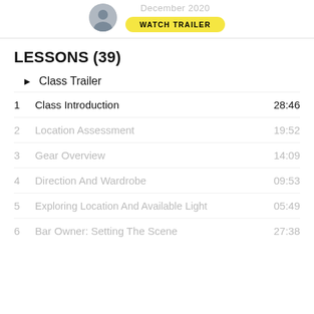December 2020 | WATCH TRAILER
LESSONS (39)
▶  Class Trailer
1   Class Introduction   28:46
2   Location Assessment   19:52
3   Gear Overview   14:09
4   Direction And Wardrobe   09:53
5   Exploring Location And Available Light   05:49
6   Bar Owner: Setting The Scene   27:38